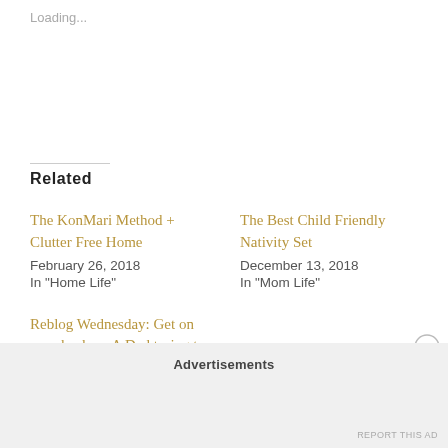Loading...
Related
The KonMari Method + Clutter Free Home
February 26, 2018
In "Home Life"
The Best Child Friendly Nativity Set
December 13, 2018
In "Mom Life"
Reblog Wednesday: Get on your back — A Dad trying to cope with the loss of his Partner and becoming a single parent.
April 24, 2019
In "Reblog Wednesday"
Advertisements
REPORT THIS AD